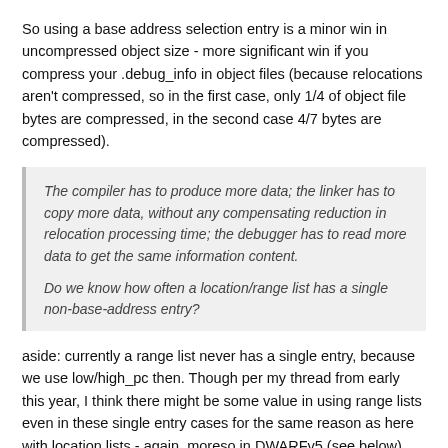So using a base address selection entry is a minor win in uncompressed object size - more significant win if you compress your .debug_info in object files (because relocations aren't compressed, so in the first case, only 1/4 of object file bytes are compressed, in the second case 4/7 bytes are compressed).
The compiler has to produce more data; the linker has to copy more data, without any compensating reduction in relocation processing time; the debugger has to read more data to get the same information content.
Do we know how often a location/range list has a single non-base-address entry?
aside: currently a range list never has a single entry, because we use low/high_pc then. Though per my thread from early this year, I think there might be some value in using range lists even in these single entry cases for the same reason as here with location lists - again, moreso in DWARFv5 (see below) than DWARFv4. (as a workaround for the lack of addrx+offset encoding which I'd use for low_pc otherwise, and giving the same benefits, essentially the same…)